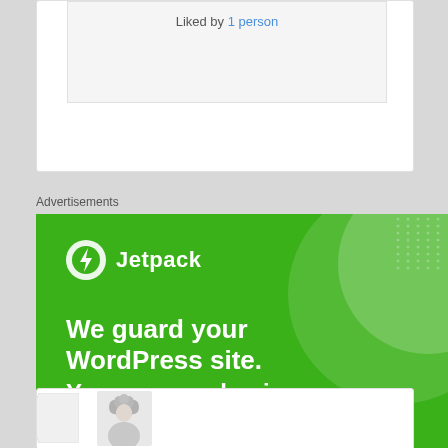Liked by 1 person
Advertisements
[Figure (illustration): Jetpack advertisement banner on green background. Shows Jetpack logo (white circle with lightning bolt) and name, with text 'We guard your WordPress site. You run your business.' and a 'Secure Your Site' button.]
[Figure (photo): Bottom comment card with speech bubble and avatar photo of a person with curly hair.]